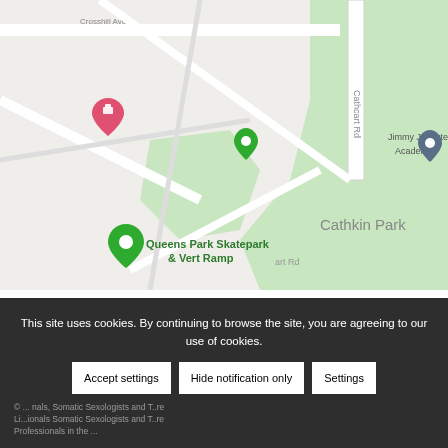[Figure (map): Street map showing Queens Park Skatepark & Vert Ramp, Jimmy Johnston Academy, and Cathkin Park. Pin markers in green and pink/red indicate locations. Roads include Cathcart Rd and Crosshill Ave.]
+ GOOGLE CALENDAR
+ ADD TO ICALENDAR
This site uses cookies. By continuing to browse the site, you are agreeing to our use of cookies.
Accept settings
Hide notification only
Settings
© ... Professionals in the ...